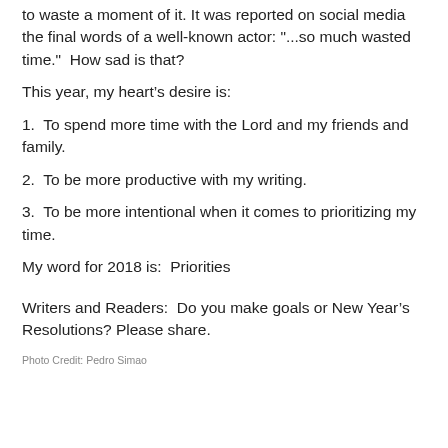to waste a moment of it. It was reported on social media the final words of a well-known actor: "...so much wasted time." How sad is that?
This year, my heart’s desire is:
1.  To spend more time with the Lord and my friends and family.
2.  To be more productive with my writing.
3.  To be more intentional when it comes to prioritizing my time.
My word for 2018 is:  Priorities
Writers and Readers:  Do you make goals or New Year’s Resolutions? Please share.
Photo Credit: Pedro Simao